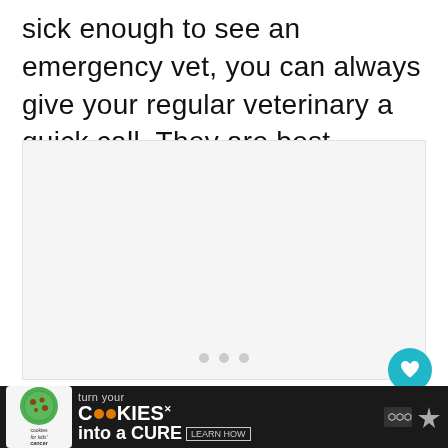sick enough to see an emergency vet, you can always give your regular veterinary a quick call. They are best equipped to give you advice on where you need to go.
[Figure (other): A light gray placeholder rectangle with three small gray dots at the bottom center, representing an ad or image loading area.]
[Figure (other): A teal circular button with a white heart icon in the lower right area of the page.]
[Figure (other): A dark advertisement banner at the bottom of the page for 'Cookies for kids' cancer' with text 'turn your COOKIES into a CURE LEARN HOW' and a close button on the right.]